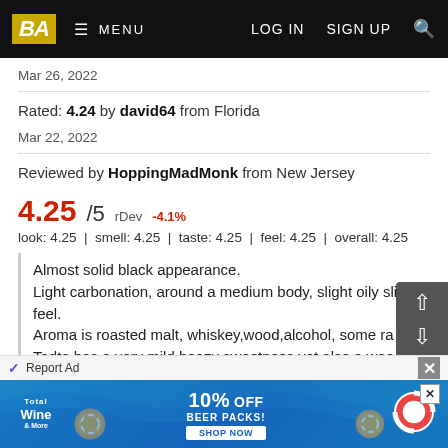BA | MENU | LOG IN | SIGN UP
Mar 26, 2022
Rated: 4.24 by david64 from Florida
Mar 22, 2022
Reviewed by HoppingMadMonk from New Jersey
4.25/5  rDev -4.1%
look: 4.25  |  smell: 4.25  |  taste: 4.25  |  feel: 4.25  |  overall: 4.25
Almost solid black appearance.
Light carbonation, around a medium body, slight oily slick feel.
Aroma is roasted malt, whiskey,wood,alcohol, some ra...
Tadte has a very mild boozy sweetness yet also a woo...
dryness. Roasted malt,alcohol dry bakers chocolate
Very good beer that I would try again
Report Ad
[Figure (photo): Total Wine advertisement banner with 10% OFF BEER PACKS promotion, blue water background with lifebuoy]